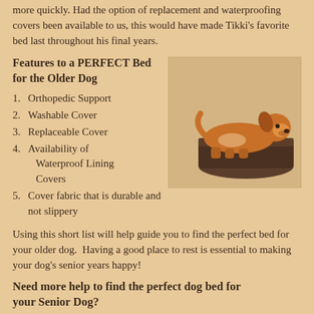more quickly. Had the option of replacement and waterproofing covers been available to us, this would have made Tikki's favorite bed last throughout his final years.
Features to a PERFECT Bed for the Older Dog
[Figure (photo): A brown and white dog lying on a dark gray orthopedic dog bed]
1. Orthopedic Support
2. Washable Cover
3. Replaceable Cover
4. Availability of Waterproof Lining Covers
5. Cover fabric that is durable and not slippery
Using this short list will help guide you to find the perfect bed for your older dog. Having a good place to rest is essential to making your dog's senior years happy!
Need more help to find the perfect dog bed for your Senior Dog?